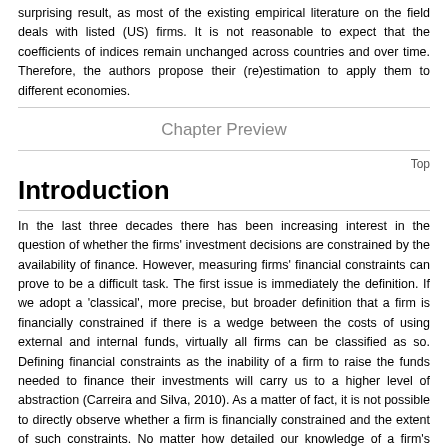surprising result, as most of the existing empirical literature on the field deals with listed (US) firms. It is not reasonable to expect that the coefficients of indices remain unchanged across countries and over time. Therefore, the authors propose their (re)estimation to apply them to different economies.
Chapter Preview
Top
Introduction
In the last three decades there has been increasing interest in the question of whether the firms' investment decisions are constrained by the availability of finance. However, measuring firms' financial constraints can prove to be a difficult task. The first issue is immediately the definition. If we adopt a 'classical', more precise, but broader definition that a firm is financially constrained if there is a wedge between the costs of using external and internal funds, virtually all firms can be classified as so. Defining financial constraints as the inability of a firm to raise the funds needed to finance their investments will carry us to a higher level of abstraction (Carreira and Silva, 2010). As a matter of fact, it is not possible to directly observe whether a firm is financially constrained and the extent of such constraints. No matter how detailed our knowledge of a firm's balance sheet, no single item, or combination of items, answers this question. As a result, researchers have devoted their time to trying to find a methodology that consistently allow identifying and measuring firms' financial constraints.